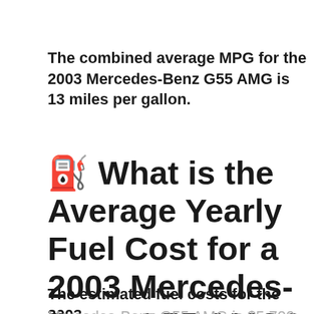The combined average MPG for the 2003 Mercedes-Benz G55 AMG is 13 miles per gallon.
⛽ What is the Average Yearly Fuel Cost for a 2003 Mercedes-Benz G55 AMG?
The estimated fuel costs for the 2003 Mercedes-Benz G55 AMG is $5,700